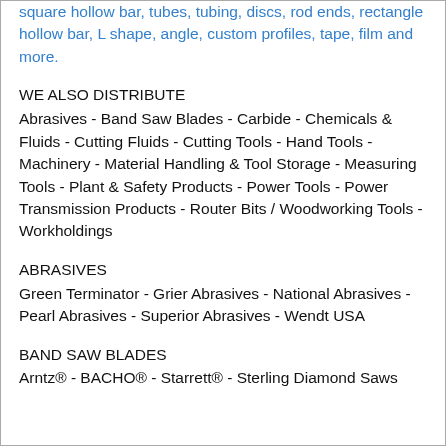square hollow bar, tubes, tubing, discs, rod ends, rectangle hollow bar, L shape, angle, custom profiles, tape, film and more.
WE ALSO DISTRIBUTE
Abrasives  -  Band Saw Blades  -  Carbide  -  Chemicals & Fluids  -  Cutting Fluids  -  Cutting Tools  -  Hand Tools  -  Machinery -  Material Handling  & Tool Storage  -  Measuring Tools  -  Plant & Safety Products  -  Power Tools  -  Power Transmission Products  -  Router Bits / Woodworking Tools  -  Workholdings
ABRASIVES
Green Terminator - Grier Abrasives - National Abrasives - Pearl Abrasives - Superior Abrasives - Wendt USA
BAND SAW BLADES
Arntz® - BACHO® - Starrett® - Sterling Diamond Saws